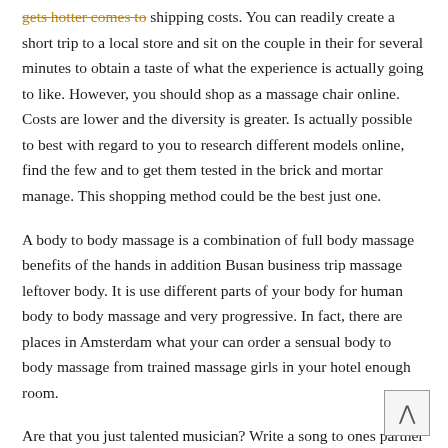gets hotter comes to shipping costs. You can readily create a short trip to a local store and sit on the couple in their for several minutes to obtain a taste of what the experience is actually going to like. However, you should shop as a massage chair online. Costs are lower and the diversity is greater. Is actually possible to best with regard to you to research different models online, find the few and to get them tested in the brick and mortar manage. This shopping method could be the best just one.
A body to body massage is a combination of full body massage benefits of the hands in addition Busan business trip massage leftover body. It is use different parts of your body for human body to body massage and very progressive. In fact, there are places in Amsterdam what your can order a sensual body to body massage from trained massage girls in your hotel enough room.
Are that you just talented musician? Write a song to ones partner and next sing that it. Sing an existing music. Change an existing song a little so in which it fits the sentiments you try to art work. If you have a tool and you